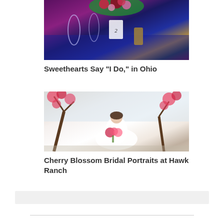[Figure (photo): Wedding table setting with purple lighting, floral centerpiece of red and pink flowers, wine glasses, gold candle holders, and a white table number card reading '2']
Sweethearts Say "I Do," in Ohio
[Figure (photo): Bride in white ballgown dress holding a pink and white floral bouquet, seated outdoors in front of blooming red/pink cherry blossom trees]
Cherry Blossom Bridal Portraits at Hawk Ranch